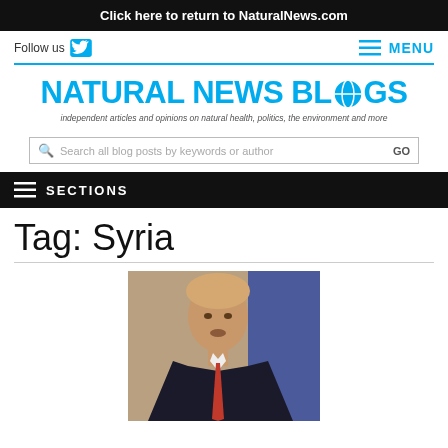Click here to return to NaturalNews.com
Follow us
MENU
[Figure (logo): Natural News Blogs logo with tagline: independent articles and opinions on natural health, politics, the environment and more]
Search all blog posts by keywords or author
SECTIONS
Tag: Syria
[Figure (photo): Photo of a man in a dark suit with red tie speaking, with a blue flag in the background]